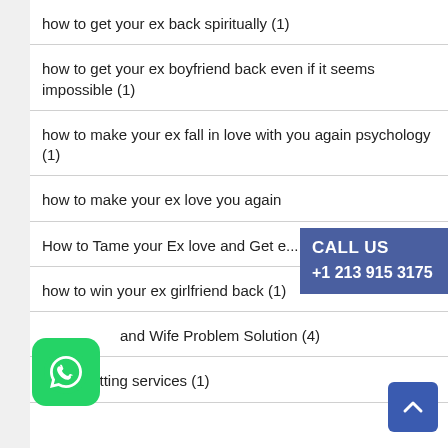how to get your ex back spiritually (1)
how to get your ex boyfriend back even if it seems impossible (1)
how to make your ex fall in love with you again psychology (1)
how to make your ex love you again
How to Tame your Ex love and Get e... (1)
how to win your ex girlfriend back (1)
and Wife Problem Solution (4)
Laser cutting services (1)
[Figure (infographic): Blue call-to-action banner with text CALL US +1 213 915 3175]
[Figure (logo): WhatsApp green icon]
[Figure (other): Blue scroll-to-top button with up arrow]